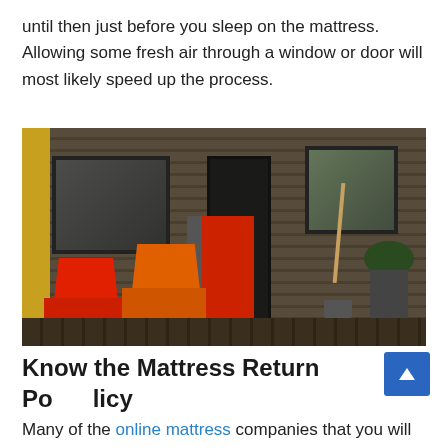until then just before you sleep on the mattress. Allowing some fresh air through a window or door will most likely speed up the process.
[Figure (photo): Exterior of a building with dark wood siding, windows, a black door, two red Adirondack chairs on a deck, and a tall red Layla mattress box standing by the door. A shovel and planter with greenery are visible to the right.]
Know the Mattress Return Policy
Many of the online mattress companies that you will